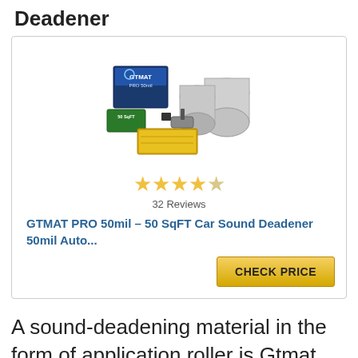Deadener
[Figure (photo): Product photo showing GTMAT PRO 50mil car sound deadener kit with box, rolls of material, and application roller]
32 Reviews
GTMAT PRO 50mil – 50 SqFT Car Sound Deadener 50mil Auto...
CHECK PRICE
A sound-deadening material in the form of application roller is Gtmat Automotive Sound Deadener. It